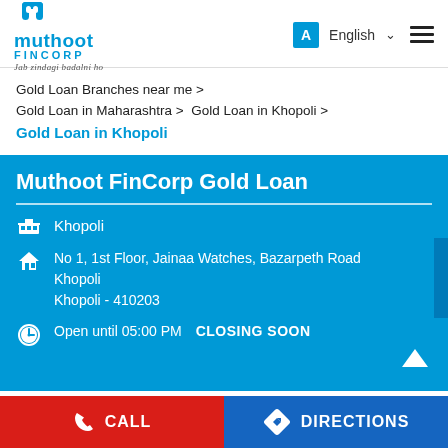[Figure (logo): Muthoot FinCorp logo with tagline 'Jab zindagi badalni ho']
Gold Loan Branches near me >
Gold Loan in Maharashtra > Gold Loan in Khopoli >
Gold Loan in Khopoli
Muthoot FinCorp Gold Loan
Khopoli
No 1, 1st Floor, Jainaa Watches, Bazarpeth Road Khopoli Khopoli - 410203
Open until 05:00 PM   CLOSING SOON